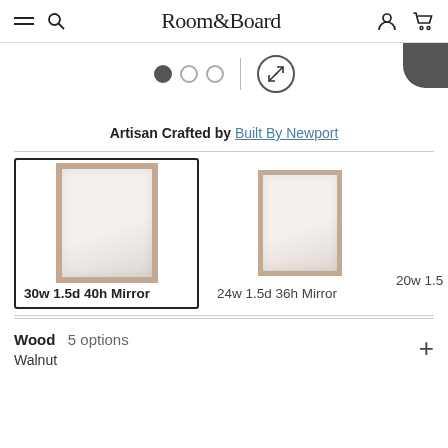Room&Board
[Figure (screenshot): Image carousel controls: three dots (first selected) and an expand/fullscreen button. Partial dark circular image in top-right corner.]
Artisan Crafted by Built By Newport
[Figure (illustration): Two mirror product option cards side by side. First card (selected, bold border): 30w 1.5d 40h Mirror with a larger mirror illustration. Second card: 24w 1.5d 36h Mirror with a smaller mirror illustration. Partial third card label: 20w 1.5]
Wood  5 options
Walnut